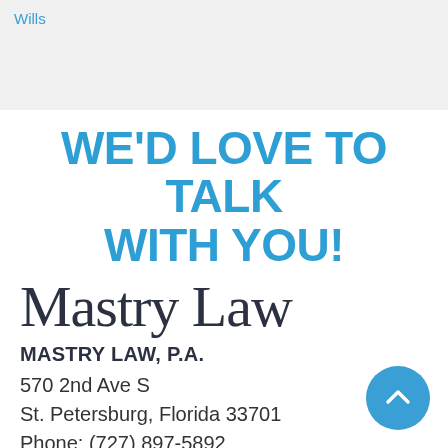Wills
WE'D LOVE TO TALK WITH YOU!
Mastry Law
MASTRY LAW, P.A.
570 2nd Ave S
St. Petersburg, Florida 33701
Phone: (727) 897-5892
Email: mike.mastry@mastrylaw.com This inquiry requires email verification. If you do not have access to an email account, please call (727) 897-5892